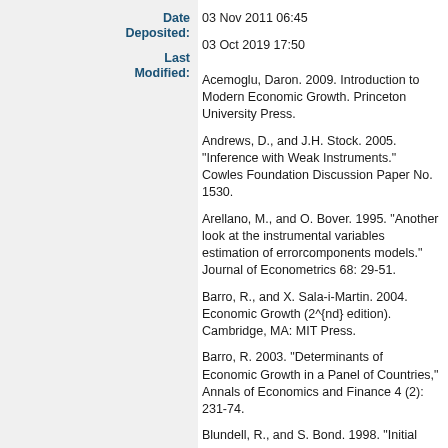Date Deposited: 03 Nov 2011 06:45
Last Modified: 03 Oct 2019 17:50
Acemoglu, Daron. 2009. Introduction to Modern Economic Growth. Princeton University Press.
Andrews, D., and J.H. Stock. 2005. "Inference with Weak Instruments." Cowles Foundation Discussion Paper No. 1530.
Arellano, M., and O. Bover. 1995. "Another look at the instrumental variables estimation of errorcomponents models." Journal of Econometrics 68: 29-51.
Barro, R., and X. Sala-i-Martin. 2004. Economic Growth (2^{nd} edition). Cambridge, MA: MIT Press.
Barro, R. 2003. "Determinants of Economic Growth in a Panel of Countries," Annals of Economics and Finance 4 (2): 231-74.
Blundell, R., and S. Bond. 1998. "Initial conditions and moment restrictions in dynamic panel data models." Journal of Econometrics 87: 11--143.
Brant, L., and T. Rawski. (Editors) 2008. China's Great Economic Transformation, Cambridge: Cambridge University Press.